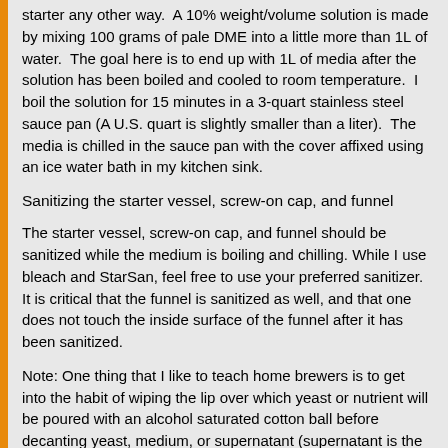starter any other way.  A 10% weight/volume solution is made by mixing 100 grams of pale DME into a little more than 1L of water.  The goal here is to end up with 1L of media after the solution has been boiled and cooled to room temperature.  I boil the solution for 15 minutes in a 3-quart stainless steel sauce pan (A U.S. quart is slightly smaller than a liter).  The media is chilled in the sauce pan with the cover affixed using an ice water bath in my kitchen sink.
Sanitizing the starter vessel, screw-on cap, and funnel
The starter vessel, screw-on cap, and funnel should be sanitized while the medium is boiling and chilling. While I use bleach and StarSan, feel free to use your preferred sanitizer.  It is critical that the funnel is sanitized as well, and that one does not touch the inside surface of the funnel after it has been sanitized.
Note: One thing that I like to teach home brewers is to get into the habit of wiping the lip over which yeast or nutrient will be poured with an alcohol saturated cotton ball before decanting yeast, medium, or supernatant (supernatant is the clear liquid that lies above the solids in a starter, yeast crop, or a batch of beer).  Wild microflora (yeast, mold, and bacteria) rides through the air and can colonize. What you want to do is ensure that you don't